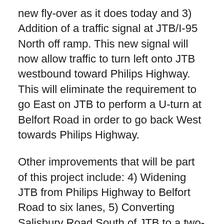new fly-over as it does today and 3) Addition of a traffic signal at JTB/I-95 North off ramp. This new signal will now allow traffic to turn left onto JTB westbound toward Philips Highway. This will eliminate the requirement to go East on JTB to perform a U-turn at Belfort Road in order to go back West towards Philips Highway.
Other improvements that will be part of this project include: 4) Widening JTB from Philips Highway to Belfort Road to six lanes, 5) Converting Salisbury Road South of JTB to a two-way roadway, 6) Close the right-turn lane from JTB westbound to Salisbury Road North and finally 7) Closing the median opening on JTB between Philips Highway and Beaver Road.